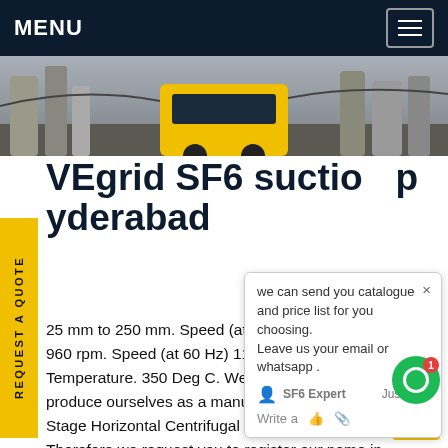MENU
[Figure (photo): Industrial site photo with yellow truck/bus and large pipes in background]
VEgrid SF6 suction pump Hyderabad
25 mm to 250 mm. Speed (at 50 Hz) 1450 / 960 rpm. Speed (at 60 Hz) 1150 / 720 rpm. Temperature. 350 Deg C. We got this opportunity to produce ourselves as a manufacturer of Single Stage Horizontal Centrifugal End Suction Pump. Therefore we request you to register our name in your approved vendor list for your valuable projects.Get price
REQUEST A QUOTE
we can send you catalogue and price list for you choosing. Leave us your email or whatsapp .